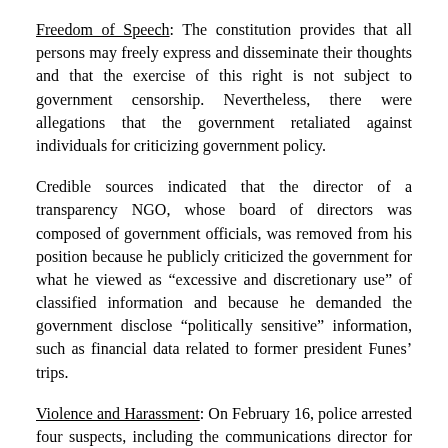Freedom of Speech: The constitution provides that all persons may freely express and disseminate their thoughts and that the exercise of this right is not subject to government censorship. Nevertheless, there were allegations that the government retaliated against individuals for criticizing government policy.
Credible sources indicated that the director of a transparency NGO, whose board of directors was composed of government officials, was removed from his position because he publicly criticized the government for what he viewed as “excessive and discretionary use” of classified information and because he demanded the government disclose “politically sensitive” information, such as financial data related to former president Funes’ trips.
Violence and Harassment: On February 16, police arrested four suspects, including the communications director for the San Salvador mayor’s office, in connection with a 2015 cyberattack against the website